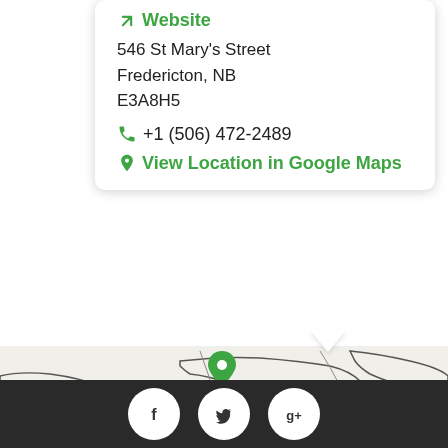Website
546 St Mary's Street
Fredericton, NB
E3A8H5
+1 (506) 472-2489
View Location in Google Maps
[Figure (map): Black and white street map of Fredericton, NB with a green location pin marker above the city label. Roads, water bodies, and dotted areas visible.]
[Figure (infographic): Dark footer bar with three white circular social media icon buttons: Facebook (f), Twitter (bird), Google+ (g+)]